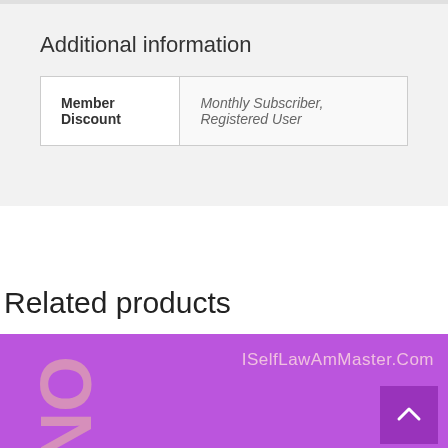Additional information
| Member Discount |  |
| --- | --- |
| Member Discount | Monthly Subscriber, Registered User |
Related products
[Figure (screenshot): Purple banner with ISelfLawAmMaster.Com URL text and large 'NO' text on left side, with scroll-to-top button]